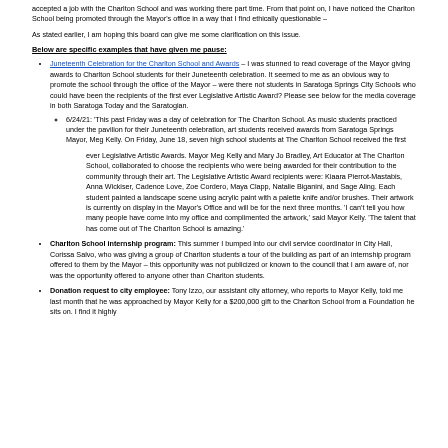accepted a job with the Charlton School and was working there part time. From that point on, I have noticed the Charlton School being promoted through the Mayor's office in a way that I find ethically questionable –
As stated earlier, I am hoping this board can give me some clarification on this issue.
Below are specific examples that have given me pause:
Juneteenth Celebration for the Charlton School and Awards – I was stunned to read coverage of the Mayor giving awards to Charlton School students for their Juneteenth celebration. It seemed to me as an obvious way to promote the school through the office of the Mayor – were there not students in Saratoga Springs City Schools who could have been the recipients of the first ever Legislative Artistic Award? Please see below for the media coverage in both Saratoga Today and the Saratogian.
6/24/21: 'This past Friday was a day of celebration for The Charlton School. As music students practiced under the pavilion for their Juneteenth celebration, art students received awards from Saratoga Springs Mayor, Meg Kelly. On Friday, June 18, seven high school students at The Charlton School received the first
ever Legislative Artistic Awards. Mayor Meg Kelly and Mary Jo Bradley, Art Educator at The Charlton School, collaborated to choose the recipients who were being awarded for their contribution to the community through their art. The Legislative Artistic Award recipients were: Kiaara Pierrot-Mastabis, Anna Wickiser, Cadence Love, Zoe Cordero, Maya Clapp, Natalie Biganini, and Sage Aling. Each student painted a landscape scene using acrylic paint with a palette knife and/or brushes. Their artwork is currently on display in the Mayor's Office and will be for the next three months. 'I can't tell you how many people have come into my office and complimented the artwork,' said Mayor Kelly. 'The talent that has come out of The Charlton School is amazing.'
Charlton School internship program: This summer I bumped into our civil service coordinator in City Hall, Corissa Salvo, who was giving a group of Charlton students a tour of the building as part of an internship program offered to them by the Mayor – this opportunity was not publicized or known to the council that I am aware of, nor was the opportunity offered to anyone other than Charlton students.
Donation request to city employee: Tony Izzo, our assistant city attorney, who reports to Mayor Kelly, told me last month that he was approached by Mayor Kelly for a $200,000 gift to the Charlton School from a Foundation he sits on. I find it highly